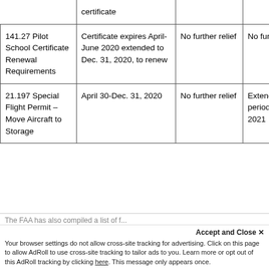| Section | Relief Period | Phase 1 Action | Phase 2 Action |
| --- | --- | --- | --- |
|  | certificate |  |  |
| 141.27 Pilot School Certificate Renewal Requirements | Certificate expires April-June 2020 extended to Dec. 31, 2020, to renew | No further relief | No further relief |
| 21.197 Special Flight Permit – Move Aircraft to Storage | April 30-Dec. 31, 2020 | No further relief | Extended period… March 2021 |
The FAA has also compiled a list of f...
Your browser settings do not allow cross-site tracking for advertising. Click on this page to allow AdRoll to use cross-site tracking to tailor ads to you. Learn more or opt out of this AdRoll tracking by clicking here. This message only appears once.